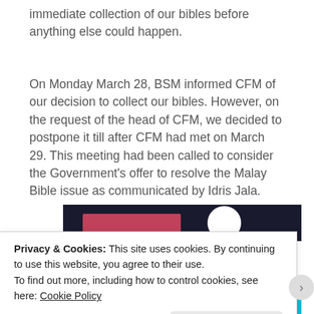immediate collection of our bibles before anything else could happen.
On Monday March 28, BSM informed CFM of our decision to collect our bibles. However, on the request of the head of CFM, we decided to postpone it till after CFM had met on March 29. This meeting had been called to consider the Government's offer to resolve the Malay Bible issue as communicated by Idris Jala.
[Figure (photo): Dark banner image partially visible showing a pink horizontal bar and white circle on dark background, and a cyan/blue bar at the bottom.]
Privacy & Cookies: This site uses cookies. By continuing to use this website, you agree to their use.
To find out more, including how to control cookies, see here: Cookie Policy
Close and accept